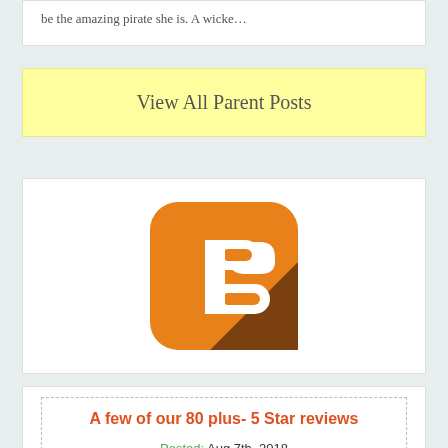be the amazing pirate she is. A wicke…
View All Parent Posts
[Figure (logo): Blogger logo — orange rounded square with a white stylized B letter and a dark brown diagonal shadow element]
A few of our 80 plus- 5 Star reviews
Posted: Aug 7th, 2018